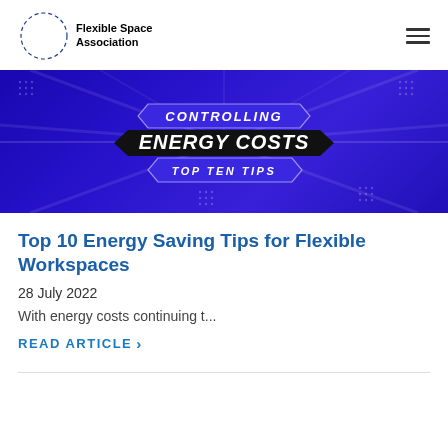Flexible Space Association
[Figure (illustration): Banner graphic with blue/purple gradient background and radiating light beams. Three badge-style shapes in center read: CONTROLLING / ENERGY COSTS / TOP TEN TIPS in white bold italic text.]
Top 10 Energy Saving Tips for Flexible Workspaces
28 July 2022
With energy costs continuing t...
READ ARTICLE >